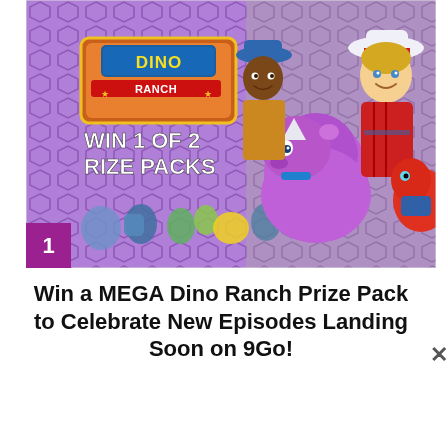[Figure (illustration): Promotional image for Dino Ranch giveaway. Purple hexagonal-scale background. Top-left shows cartoon dinosaur and cowboy character figures (toys). Center-left has Dino Ranch logo sign in yellow/red with text 'WIN 1 OF 2 RIZE PACKS' in white bold letters. Right side shows animated characters: a boy in a cowboy hat, a girl, a purple triceratops dinosaur, and a red dinosaur. Bottom-left corner has a magenta square with white number '1'.]
Win a MEGA Dino Ranch Prize Pack to Celebrate New Episodes Landing Soon on 9Go!